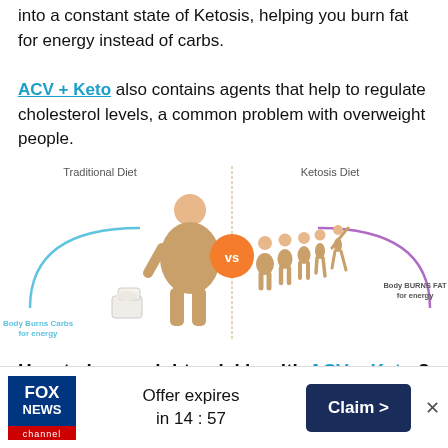into a constant state of Ketosis, helping you burn fat for energy instead of carbs.

ACV + Keto also contains agents that help to regulate cholesterol levels, a common problem with overweight people.
[Figure (infographic): Traditional Diet vs Ketosis Diet comparison diagram. Left side shows 'Traditional Diet' with an overweight person and blue arc labeled 'Body Burns Carbs for energy'. Center shows orange circle with 'vs'. Right side shows 'Ketosis Diet' with a sequence of thinning figures and purple arc labeled 'Body BURNS FAT for energy'.]
How to lose weight quickly with ACV + Keto ?
1  Appetite control
[Figure (infographic): Fox News Channel advertisement banner. Fox News logo on left, 'Offer expires in 14 : 57' in center, 'Claim >' button on right, close X at far right.]